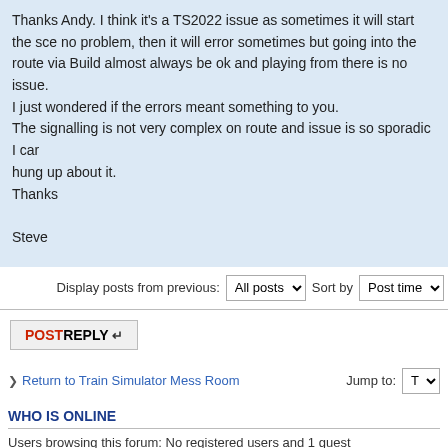Thanks Andy. I think it's a TS2022 issue as sometimes it will start the sce no problem, then it will error sometimes but going into the route via Build almost always be ok and playing from there is no issue.
I just wondered if the errors meant something to you.
The signalling is not very complex on route and issue is so sporadic I car hung up about it.
Thanks

Steve
Display posts from previous: All posts   Sort by Post time
POSTREPLY
Return to Train Simulator Mess Room   Jump to:
WHO IS ONLINE
Users browsing this forum: No registered users and 1 guest
Board index   The team • Delete a
Powered by phpBB® Forum Software © phpBB Gr